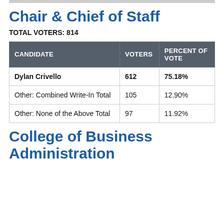Chair & Chief of Staff
TOTAL VOTERS: 814
| CANDIDATE | VOTERS | PERCENT OF VOTE |
| --- | --- | --- |
| Dylan Crivello | 612 | 75.18% |
| Other: Combined Write-In Total | 105 | 12.90% |
| Other: None of the Above Total | 97 | 11.92% |
College of Business Administration